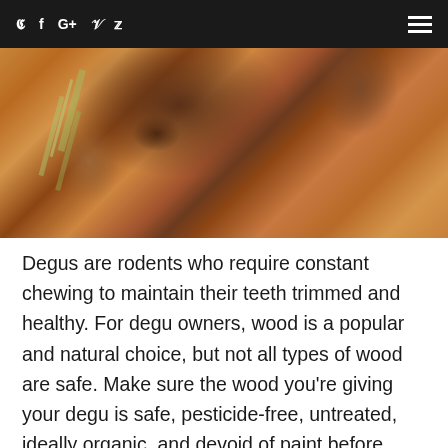Social icons: Twitter, Facebook, Google+, Vimeo, Pinterest | Hamburger menu
[Figure (photo): Close-up photo of a degu rodent on wood chip bedding, showing its fur, whiskers, and claws]
Degus are rodents who require constant chewing to maintain their teeth trimmed and healthy. For degu owners, wood is a popular and natural choice, but not all types of wood are safe. Make sure the wood you're giving your degu is safe, pesticide-free, untreated, ideally organic, and devoid of paint before collecting that tree limb from your backyard or a block of wood from the local lumber yard.